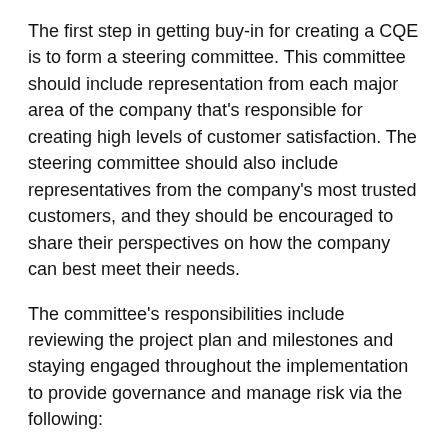The first step in getting buy-in for creating a CQE is to form a steering committee. This committee should include representation from each major area of the company that’s responsible for creating high levels of customer satisfaction. The steering committee should also include representatives from the company’s most trusted customers, and they should be encouraged to share their perspectives on how the company can best meet their needs.
The committee’s responsibilities include reviewing the project plan and milestones and staying engaged throughout the implementation to provide governance and manage risk via the following:
The establishment of SLAs and metrics
Quality interactions between business processes
Procedure development
Preemptive, proactive communications
When hiring off into roles related to the overall...